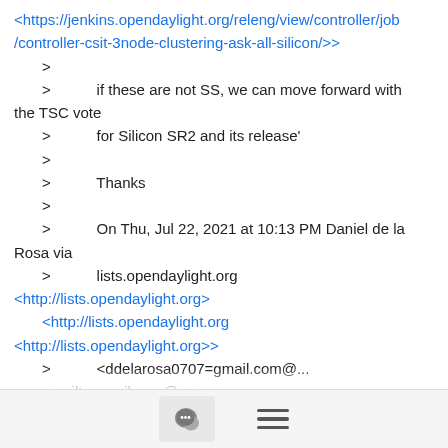<https://jenkins.opendaylight.org/releng/view/controller/job/controller-csit-3node-clustering-ask-all-silicon/>>
    >
    >            if these are not SS, we can move forward with the TSC vote
    >            for Silicon SR2 and its release'
    >
    >            Thanks
    >
    >            On Thu, Jul 22, 2021 at 10:13 PM Daniel de la Rosa via
    >            lists.opendaylight.org
<http://lists.opendaylight.org>
        <http://lists.opendaylight.org
<http://lists.opendaylight.org>>
    >            <ddelarosa0707=gmail.com@...
        <mailto:gmail.com@...>
    >            <mailto:gmail.com@...
        <mailto:gmail.com@...>> wrote:
[Figure (screenshot): Footer navigation bar with chat bubble icon button and hamburger menu icon]